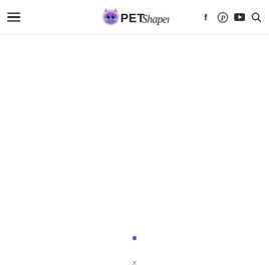PetShaper website header with logo, navigation hamburger menu, and social/search icons
[Figure (logo): PetShaper logo with a purple cat face icon and stylized text reading 'PETShaper' in mixed serif/script font]
[Figure (other): Small blue dot centered on page, likely a loading indicator]
x